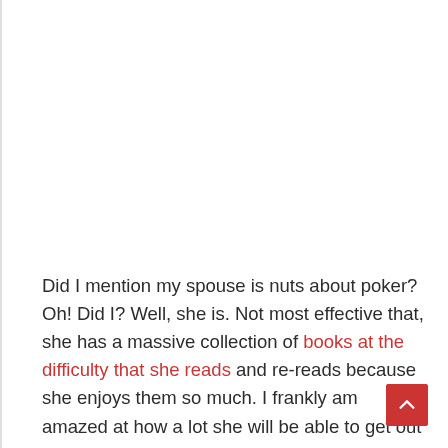Did I mention my spouse is nuts about poker? Oh! Did I? Well, she is. Not most effective that, she has a massive collection of books at the difficulty that she reads and re-reads because she enjoys them so much. I frankly am amazed at how a lot she will be able to get out of a book that puts me to sleep before I can read five words in it. However, it truly is the way we people are! Most people